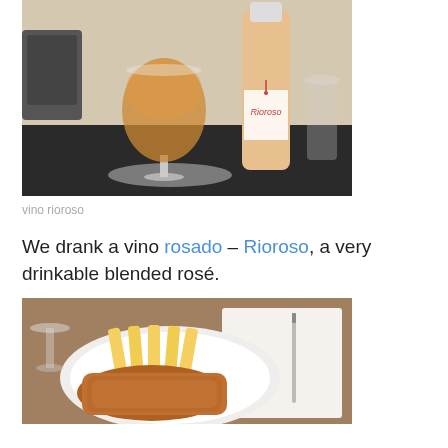[Figure (photo): Photo of a glass of amber/rosé wine and a bottle labeled 'Rioroso' on a restaurant table, outdoor setting visible in the background.]
vino rioroso
We drank a vino rosado – Rioroso, a very drinkable blended rosé.
[Figure (photo): Photo of a white plate with fried breaded meat (schnitzel/milanesa) and French fries on a dark restaurant table, with a wine glass visible at the top left and a knife and napkin to the right.]